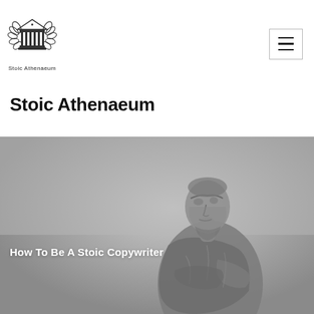[Figure (logo): Stoic Athenaeum logo — a Greek temple with laurel wreaths, with text 'Stoic Athenaeum' below]
Stoic Athenaeum
[Figure (photo): Black and white photo of a Roman/Greek statue of a man in toga looking upward, hero banner image with text overlay 'How To Be A Stoic Copywriter']
How To Be A Stoic Copywriter